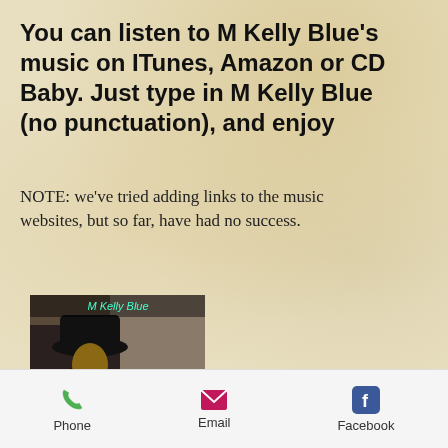You can listen to M Kelly Blue's music on ITunes, Amazon or CD Baby.  Just type in M Kelly Blue (no punctuation), and enjoy
NOTE:  we've tried adding links to the music websites, but so far, have had no success.
[Figure (photo): Album cover photo of M Kelly Blue - person wearing a cowboy hat, with text 'M Kelly Blue' at top]
[Figure (photo): Album cover photo with blue tones showing M Kelly Blue wearing a hat, with text 'M Kelly Blue' in cursive]
Phone   Email   Facebook